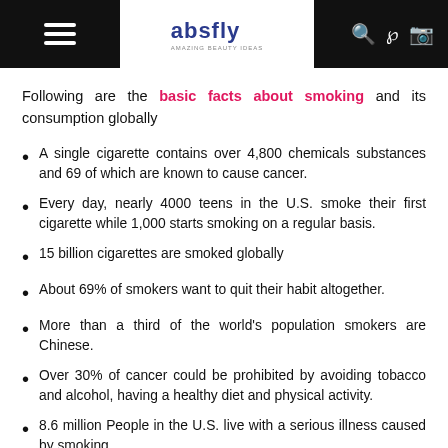absfly
Following are the basic facts about smoking and its consumption globally
A single cigarette contains over 4,800 chemicals substances and 69 of which are known to cause cancer.
Every day, nearly 4000 teens in the U.S. smoke their first cigarette while 1,000 starts smoking on a regular basis.
15 billion cigarettes are smoked globally
About 69% of smokers want to quit their habit altogether.
More than a third of the world's population smokers are Chinese.
Over 30% of cancer could be prohibited by avoiding tobacco and alcohol, having a healthy diet and physical activity.
8.6 million People in the U.S. live with a serious illness caused by smoking.